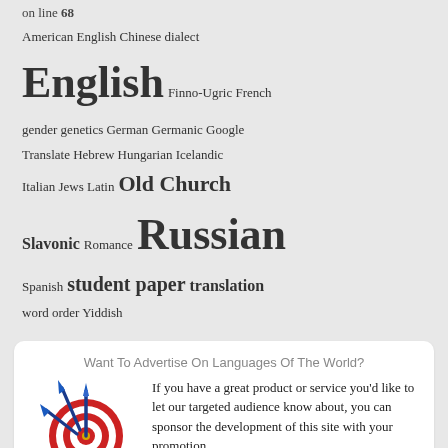on line 68
American English Chinese dialect English Finno-Ugric French gender genetics German Germanic Google Translate Hebrew Hungarian Icelandic Italian Jews Latin Old Church Slavonic Romance Russian Spanish student paper translation word order Yiddish
Want To Advertise On Languages Of The World?
[Figure (illustration): Red and white bullseye target with three blue darts hitting the center]
If you have a great product or service you'd like to let our targeted audience know about, you can sponsor the development of this site with your promotion.
Get in touch to learn more here.
Copyright © 2022 LanguagesOfTheWorld.info. All Rights Reserved |